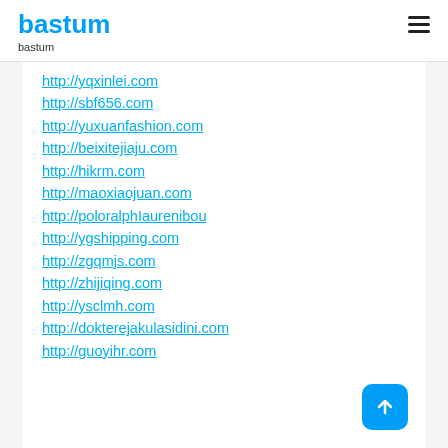bastum
bastum
http://yqxinlei.com
http://sbf656.com
http://yuxuanfashion.com
http://beixitejiaju.com
http://hikrm.com
http://maoxiaojuan.com
http://poloralphIaurenibou
http://ygshipping.com
http://zgqmjs.com
http://zhijiqing.com
http://ysclmh.com
http://dokterejakulasidini.com
http://guoyihr.com